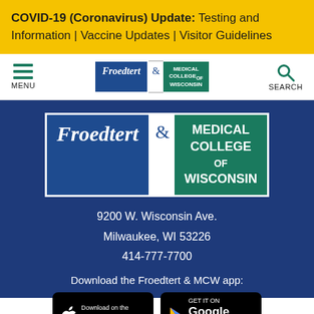COVID-19 (Coronavirus) Update: Testing and Information | Vaccine Updates | Visitor Guidelines
[Figure (logo): Froedtert & Medical College of Wisconsin navigation logo with menu and search icons]
[Figure (logo): Large Froedtert & Medical College of Wisconsin logo on dark blue footer]
9200 W. Wisconsin Ave.
Milwaukee, WI 53226
414-777-7700
Download the Froedtert & MCW app:
[Figure (other): App Store and Google Play download buttons]